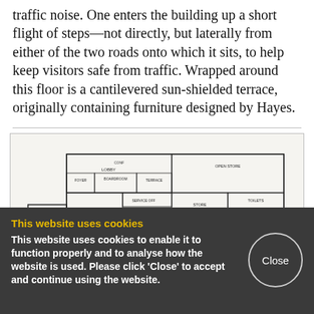traffic noise. One enters the building up a short flight of steps—not directly, but laterally from either of the two roads onto which it sits, to help keep visitors safe from traffic. Wrapped around this floor is a cantilevered sun-shielded terrace, originally containing furniture designed by Hayes.
[Figure (engineering-diagram): Architectural floor plan labeled 'LOWER LEVEL' showing room layouts, corridors, stairs, and car park area of a building]
This website uses cookies
This website uses cookies to enable it to function properly and to analyse how the website is used. Please click 'Close' to accept and continue using the website.